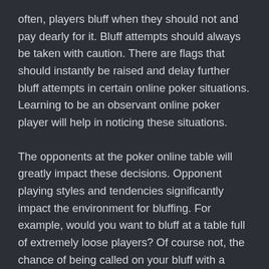often, players bluff when they should not and pay dearly for it. Bluff attempts should always be taken with caution. There are flags that should instantly be raised and delay further bluff attempts in certain online poker situations. Learning to be an observant online poker player will help in noticing these situations.
The opponents at the poker online table will greatly impact these decisions. Opponent playing styles and tendencies significantly impact the environment for bluffing. For example, would you want to bluff at a table full of extremely loose players? Of course not, the chance of being called on your bluff with a garbage hand is too likely. The same is true for bluffing out of position at a tight table. The chance of being pushed in return or called from a later positioned player that has the dominant had